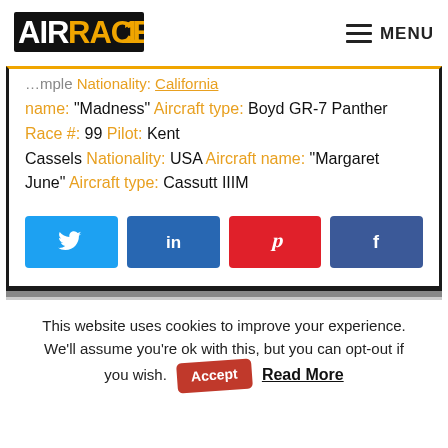[Figure (logo): AirRace1 logo — stylized text with yellow/black design]
MENU
name: "Madness" Aircraft type: Boyd GR-7 Panther Race #: 99 Pilot: Kent Cassels Nationality: USA Aircraft name: "Margaret June" Aircraft type: Cassutt IIIM
[Figure (infographic): Social share buttons: Twitter, LinkedIn, Pinterest, Facebook]
This website uses cookies to improve your experience. We'll assume you're ok with this, but you can opt-out if you wish. Accept  Read More